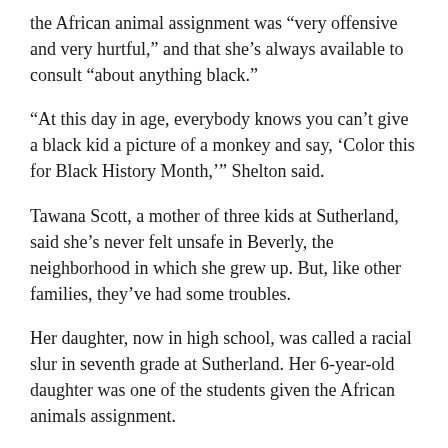the African animal assignment was “very offensive and very hurtful,” and that she’s always available to consult “about anything black.”
“At this day in age, everybody knows you can’t give a black kid a picture of a monkey and say, ‘Color this for Black History Month,’” Shelton said.
Tawana Scott, a mother of three kids at Sutherland, said she’s never felt unsafe in Beverly, the neighborhood in which she grew up. But, like other families, they’ve had some troubles.
Her daughter, now in high school, was called a racial slur in seventh grade at Sutherland. Her 6-year-old daughter was one of the students given the African animals assignment.